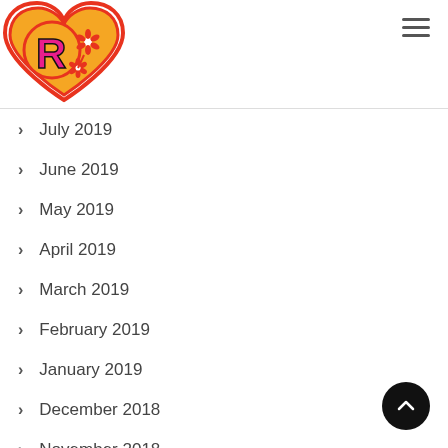[Figure (logo): Circular stylized R logo in pink/black on an orange-red heart shape with red decorative flowers, website logo]
July 2019
June 2019
May 2019
April 2019
March 2019
February 2019
January 2019
December 2018
November 2018
September 2018